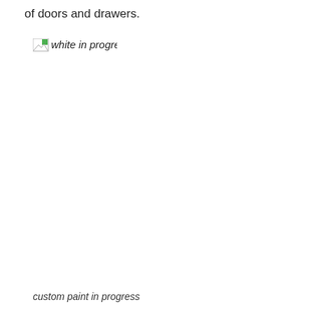of doors and drawers.
[Figure (photo): Broken image placeholder labeled 'white in progress']
custom paint in progress